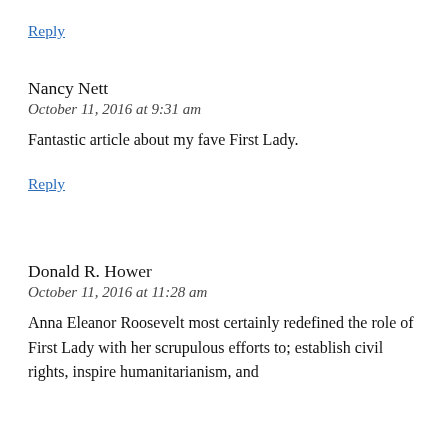Reply
Nancy Nett
October 11, 2016 at 9:31 am
Fantastic article about my fave First Lady.
Reply
Donald R. Hower
October 11, 2016 at 11:28 am
Anna Eleanor Roosevelt most certainly redefined the role of First Lady with her scrupulous efforts to; establish civil rights, inspire humanitarianism, and